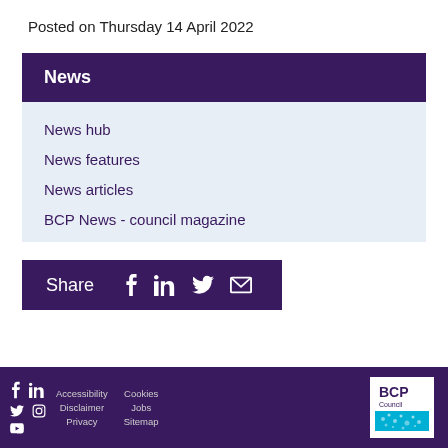Posted on Thursday 14 April 2022
News
News hub
News features
News articles
BCP News - council magazine
Share
Accessibility  Disclaimer  Privacy  Cookies  Jobs  Sitemap